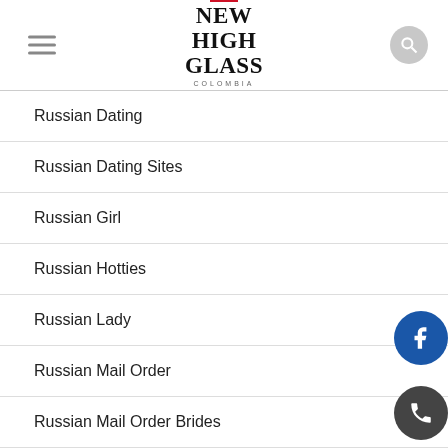New High Glass Colombia
Russian Dating
Russian Dating Sites
Russian Girl
Russian Hotties
Russian Lady
Russian Mail Order
Russian Mail Order Brides
Russian Mail Order Brides Cost